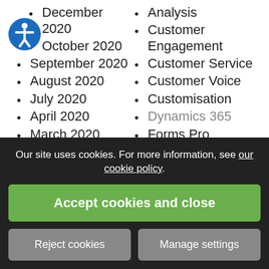December 2020
October 2020
September 2020
August 2020
July 2020
April 2020
March 2020
February 2020
January 2020
Analysis
Customer Engagement
Customer Service
Customer Voice
Customisation
Dynamics 365
Forms Pro
Leads
Microsoft Teams
Opportunities
Power Platform
Relevance Search
Remote Working
Virus
Our site uses cookies. For more information, see our cookie policy.
Accept cookies and close
Reject cookies
Manage settings